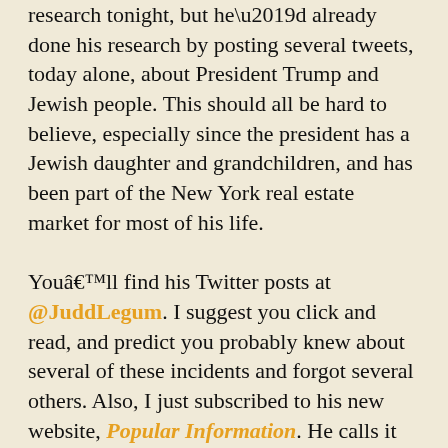research tonight, but he’d already done his research by posting several tweets, today alone, about President Trump and Jewish people. This should all be hard to believe, especially since the president has a Jewish daughter and grandchildren, and has been part of the New York real estate market for most of his life. You’ll find his Twitter posts at @JuddLegum. I suggest you click and read, and predict you probably knew about several of these incidents and forgot several others. Also, I just subscribed to his new website, Popular Information. He calls it “News and perspective for people who give a damn” and I think it’s worth a look. (I’ve always believed in hearing both sides from believers, even if I disagree. Helps me understand the issue better.)